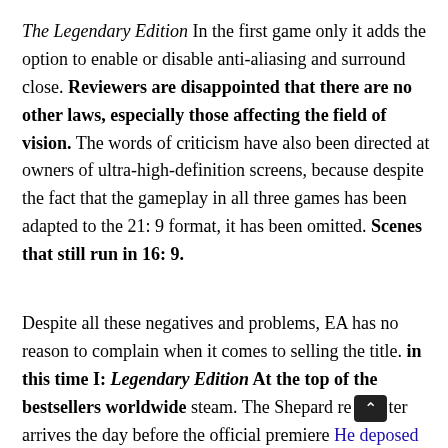The Legendary Edition In the first game only it adds the option to enable or disable anti-aliasing and surround close. Reviewers are disappointed that there are no other laws, especially those affecting the field of vision. The words of criticism have also been directed at owners of ultra-high-definition screens, because despite the fact that the gameplay in all three games has been adapted to the 21: 9 format, it has been omitted. Scenes that still run in 16: 9.
Despite all these negatives and problems, EA has no reason to complain when it comes to selling the title. in this time I: Legendary Edition At the top of the bestsellers worldwide steam. The Shepard remaster arrives the day before the official premiere He deposed the throne The former leader of this arrangement